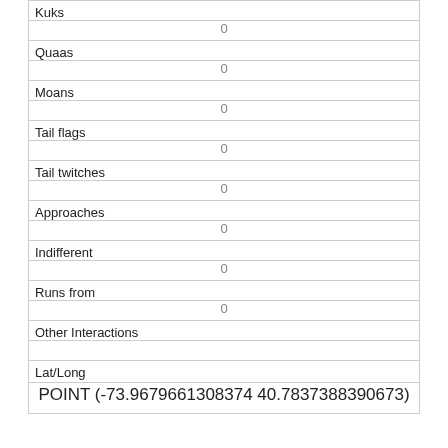| Field | Value |
| --- | --- |
| Kuks | 0 |
| Quaas | 0 |
| Moans | 0 |
| Tail flags | 0 |
| Tail twitches | 0 |
| Approaches | 0 |
| Indifferent | 0 |
| Runs from | 0 |
| Other Interactions |  |
| Lat/Long | POINT (-73.9679661308374 40.7837388390673) |